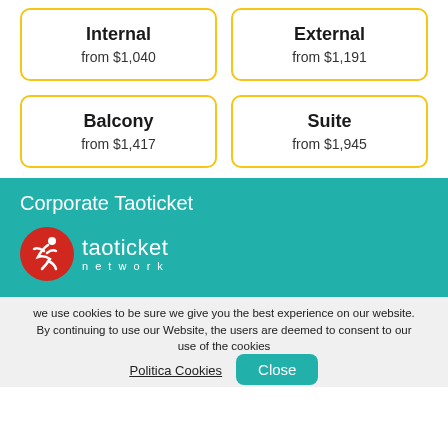Internal
from $1,040
External
from $1,191
Balcony
from $1,417
Suite
from $1,945
Corporate Taoticket
[Figure (logo): Taoticket Network logo: red circle with white stylized figure, text 'taoticket network' in white]
we use cookies to be sure we give you the best experience on our website. By continuing to use our Website, the users are deemed to consent to our use of the cookies
Politica Cookies
Close